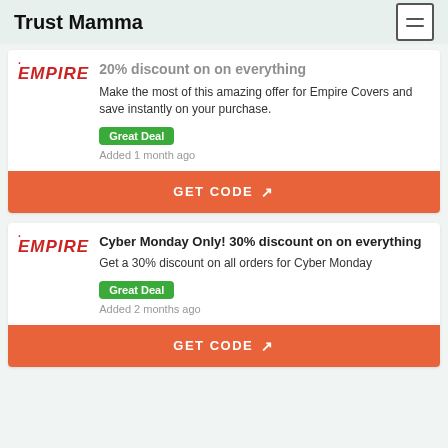Trust Mamma
20% discount on on everything — Make the most of this amazing offer for Empire Covers and save instantly on your purchase. Great Deal Added 1 month ago
GET CODE
Cyber Monday Only! 30% discount on on everything
Get a 30% discount on all orders for Cyber Monday. Great Deal Added 2 months ago
GET CODE